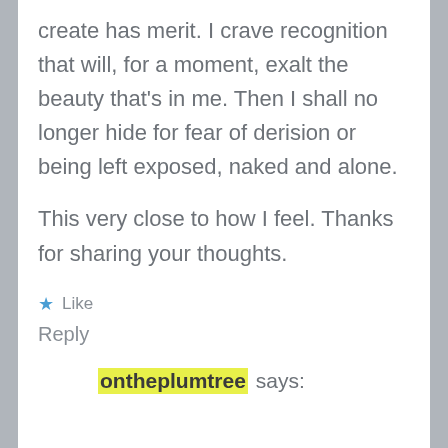create has merit. I crave recognition that will, for a moment, exalt the beauty that's in me. Then I shall no longer hide for fear of derision or being left exposed, naked and alone.
This very close to how I feel. Thanks for sharing your thoughts.
★ Like
Reply
ontheplumtree says: